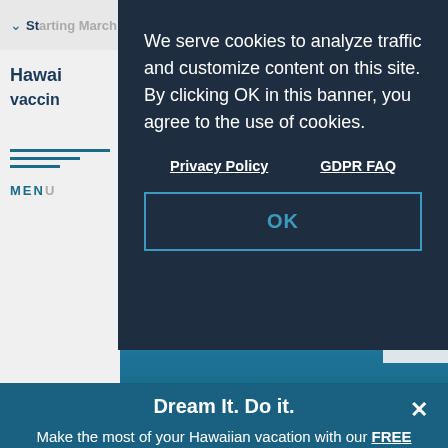[Figure (screenshot): Background website screenshot showing a Hawaii tourism page with a header bar showing partial text 'Starting March 26, domestic travelers entering', a left sidebar with 'Hawai' and 'vaccin' text visible, horizontal teal lines, a MENU label, a main content area with sky and building photo, 'Experiences' watermark text, and a BACK TO TOP button]
We serve cookies to analyze traffic and customize content on this site. By clicking OK in this banner, you agree to the use of cookies.
Privacy Policy    GDPR FAQ
OK
Dream It. Do it.
Make the most of your Hawaiian vacation with our FREE Official Visitors' Guide.
LET'S GO